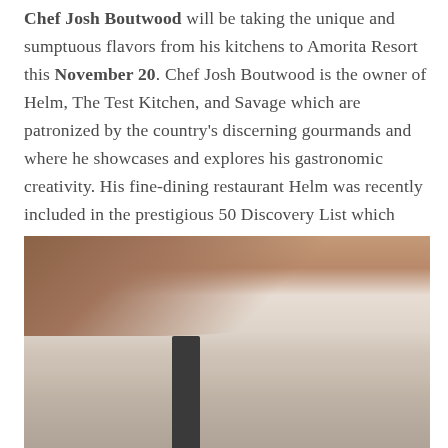Chef Josh Boutwood will be taking the unique and sumptuous flavors from his kitchens to Amorita Resort this November 20. Chef Josh Boutwood is the owner of Helm, The Test Kitchen, and Savage which are patronized by the country's discerning gourmands and where he showcases and explores his gastronomic creativity. His fine-dining restaurant Helm was recently included in the prestigious 50 Discovery List which makes the restaurant one of the most sought-after dining destinations in the world.
[Figure (photo): A blurred photograph showing a light beige/cream interior setting with a dark brown curved shape at the top and a dark vertical element (possibly a stand or utensil) in the lower center, suggesting a fine-dining restaurant ambiance.]